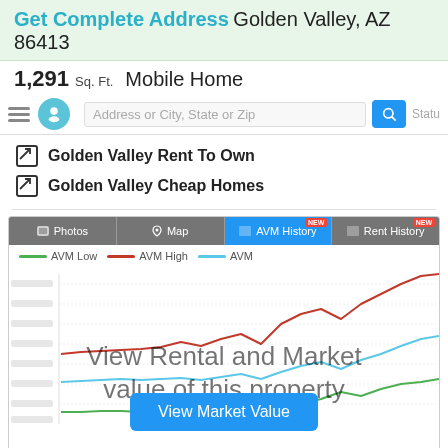Get Complete Address Golden Valley, AZ 86413
1,291 Sq. Ft.  Mobile Home
Golden Valley Rent To Own
Golden Valley Cheap Homes
[Figure (line-chart): AVM History chart showing AVM Low (green), AVM High (red), and AVM (blue) lines over time with overlay 'View Rental and Market value of this property' and 'View Market Value' button]